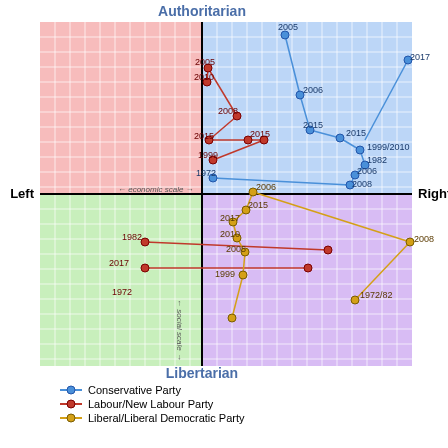[Figure (scatter-plot): A political compass scatter plot with four quadrants (Authoritarian/Libertarian × Left/Right). Three party trajectories plotted: Conservative Party (blue), Labour/New Labour Party (red), Liberal/Liberal Democratic Party (orange/gold). Points labeled with years 1972–2017.]
Conservative Party
Labour/New Labour Party
Liberal/Liberal Democratic Party